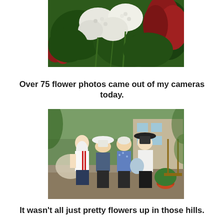[Figure (photo): A lush garden scene with white hydrangea blooms and red tropical foliage plants against a dark green background.]
Over 75 flower photos came out of my cameras today.
[Figure (photo): Four people posing together outdoors in front of a house surrounded by greenery. The group includes an elderly man with a long white beard wearing a white sports jersey, a woman in a white hat, an elderly woman in a blue floral top, and a woman in a white jacket wearing a black hat.]
It wasn't all just pretty flowers up in those hills.